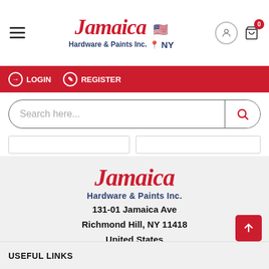[Figure (screenshot): Jamaica Hardware & Paints Inc. website header with logo, hamburger menu, login/register navigation bar, search bar, and store address information. Includes a large Jamaica Hardware & Paints Inc. logo, address at 131-01 Jamaica Ave, Richmond Hill, NY 11418, United States, and a USEFUL LINKS section footer.]
Jamaica Hardware & Paints Inc. NY
LOGIN   REGISTER
Search here...
Jamaica Hardware & Paints Inc.
131-01 Jamaica Ave
Richmond Hill, NY 11418
United States
USEFUL LINKS